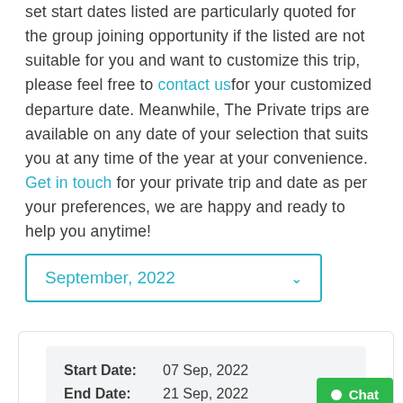set start dates listed are particularly quoted for the group joining opportunity if the listed are not suitable for you and want to customize this trip, please feel free to contact us for your customized departure date. Meanwhile, The Private trips are available on any date of your selection that suits you at any time of the year at your convenience. Get in touch for your private trip and date as per your preferences, we are happy and ready to help you anytime!
September, 2022
| Field | Value |
| --- | --- |
| Start Date: | 07 Sep, 2022 |
| End Date: | 21 Sep, 2022 |